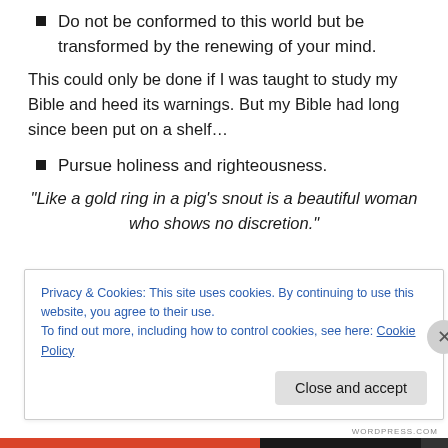Do not be conformed to this world but be transformed by the renewing of your mind.
This could only be done if I was taught to study my Bible and heed its warnings. But my Bible had long since been put on a shelf…
Pursue holiness and righteousness.
“Like a gold ring in a pig’s snout is a beautiful woman who shows no discretion.”
Privacy & Cookies: This site uses cookies. By continuing to use this website, you agree to their use.
To find out more, including how to control cookies, see here: Cookie Policy